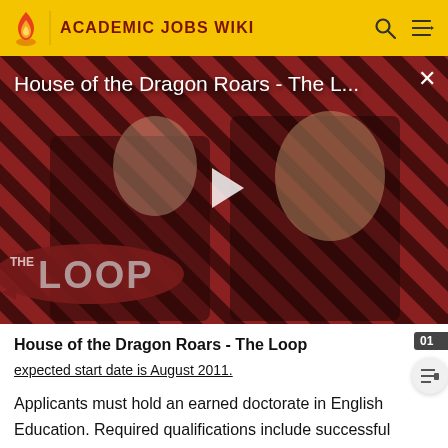ACADEMIC JOBS WIKI
[Figure (screenshot): Video thumbnail for 'House of the Dragon Roars - The L...' showing characters from the show over a diagonally striped red and dark pattern background, with a play button in the center and 'THE LOOP' logo in the lower left. A close (X) button appears in the upper right.]
House of the Dragon Roars - The Loop
expected start date is August 2011.
Applicants must hold an earned doctorate in English Education. Required qualifications include successful